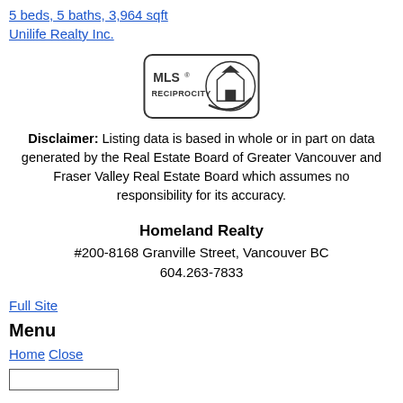5 beds, 5 baths, 3,964 sqft
Unilife Realty Inc.
[Figure (logo): MLS Reciprocity logo — rounded rectangle badge with house icon and text MLS® RECIPROCITY]
Disclaimer: Listing data is based in whole or in part on data generated by the Real Estate Board of Greater Vancouver and Fraser Valley Real Estate Board which assumes no responsibility for its accuracy.
Homeland Realty
#200-8168 Granville Street, Vancouver BC
604.263-7833
Full Site
Menu
Home Close